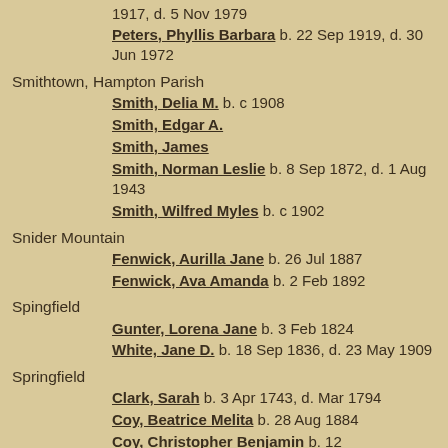1917, d. 5 Nov 1979
Peters, Phyllis Barbara b. 22 Sep 1919, d. 30 Jun 1972
Smithtown, Hampton Parish
Smith, Delia M. b. c 1908
Smith, Edgar A.
Smith, James
Smith, Norman Leslie b. 8 Sep 1872, d. 1 Aug 1943
Smith, Wilfred Myles b. c 1902
Snider Mountain
Fenwick, Aurilla Jane b. 26 Jul 1887
Fenwick, Ava Amanda b. 2 Feb 1892
Spingfield
Gunter, Lorena Jane b. 3 Feb 1824
White, Jane D. b. 18 Sep 1836, d. 23 May 1909
Springfield
Clark, Sarah b. 3 Apr 1743, d. Mar 1794
Coy, Beatrice Melita b. 28 Aug 1884
Coy, Christopher Benjamin b. 12